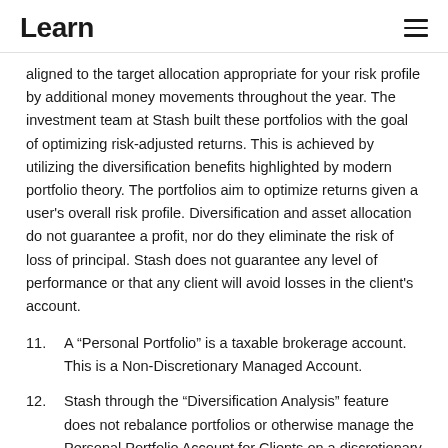Learn
aligned to the target allocation appropriate for your risk profile by additional money movements throughout the year. The investment team at Stash built these portfolios with the goal of optimizing risk-adjusted returns. This is achieved by utilizing the diversification benefits highlighted by modern portfolio theory. The portfolios aim to optimize returns given a user's overall risk profile. Diversification and asset allocation do not guarantee a profit, nor do they eliminate the risk of loss of principal. Stash does not guarantee any level of performance or that any client will avoid losses in the client's account.
11. A “Personal Portfolio” is a taxable brokerage account. This is a Non-Discretionary Managed Account.
12. Stash through the “Diversification Analysis” feature does not rebalance portfolios or otherwise manage the Personal Portfolio Account for Clients on a discretionary basis. Each Client is solely responsible for implementing any such advice. This investment recommendation relies entirely on the responses you’ve provided regarding your risk tolerance. Portfolio...